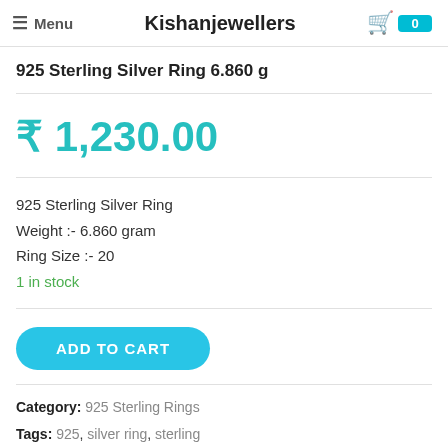≡ Menu  Kishanjewellers  0
925 Sterling Silver Ring 6.860 g
₹ 1,230.00
925 Sterling Silver Ring
Weight :- 6.860 gram
Ring Size :- 20
1 in stock
ADD TO CART
Category: 925 Sterling Rings
Tags: 925, silver ring, sterling